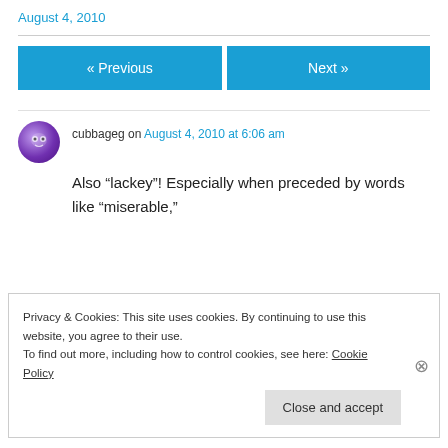August 4, 2010
« Previous   Next »
cubbageg on August 4, 2010 at 6:06 am
Also “lackey”! Especially when preceded by words like “miserable,”
Privacy & Cookies: This site uses cookies. By continuing to use this website, you agree to their use.
To find out more, including how to control cookies, see here: Cookie Policy